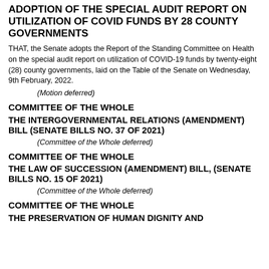ADOPTION OF THE SPECIAL AUDIT REPORT ON UTILIZATION OF COVID FUNDS BY 28 COUNTY GOVERNMENTS
THAT, the Senate adopts the Report of the Standing Committee on Health on the special audit report on utilization of COVID-19 funds by twenty-eight (28) county governments, laid on the Table of the Senate on Wednesday, 9th February, 2022.
(Motion deferred)
COMMITTEE OF THE WHOLE
THE INTERGOVERNMENTAL RELATIONS (AMENDMENT) BILL (SENATE BILLS NO. 37 OF 2021)
(Committee of the Whole deferred)
COMMITTEE OF THE WHOLE
THE LAW OF SUCCESSION (AMENDMENT) BILL, (SENATE BILLS NO. 15 OF 2021)
(Committee of the Whole deferred)
COMMITTEE OF THE WHOLE
THE PRESERVATION OF HUMAN DIGNITY AND